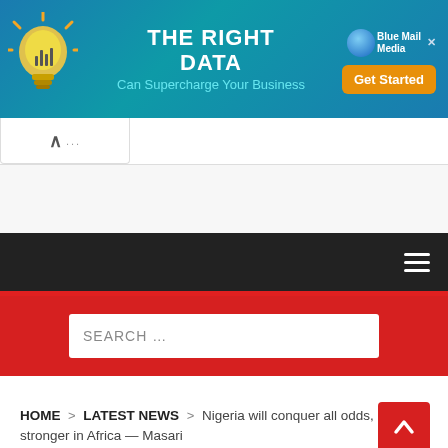[Figure (screenshot): Advertisement banner for Blue Mail Media: 'THE RIGHT DATA Can Supercharge Your Business' with a lightbulb graphic and a 'Get Started' button.]
HOME > LATEST NEWS > Nigeria will conquer all odds, become stronger in Africa — Masari
Nigeria will conquer all odds,